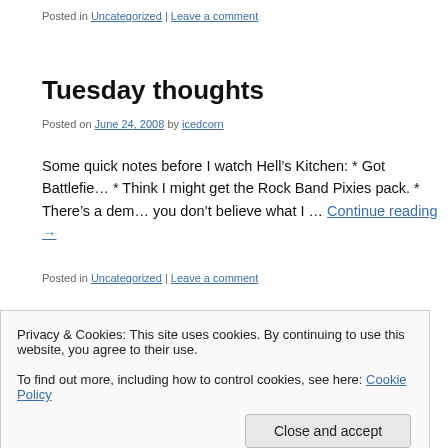Posted in Uncategorized | Leave a comment
Tuesday thoughts
Posted on June 24, 2008 by icedcorn
Some quick notes before I watch Hell’s Kitchen: * Got Battlefie… * Think I might get the Rock Band Pixies pack. * There’s a dem… you don’t believe what I … Continue reading →
Posted in Uncategorized | Leave a comment
Alizee vs Coldplay
Privacy & Cookies: This site uses cookies. By continuing to use this website, you agree to their use.
To find out more, including how to control cookies, see here: Cookie Policy
Close and accept